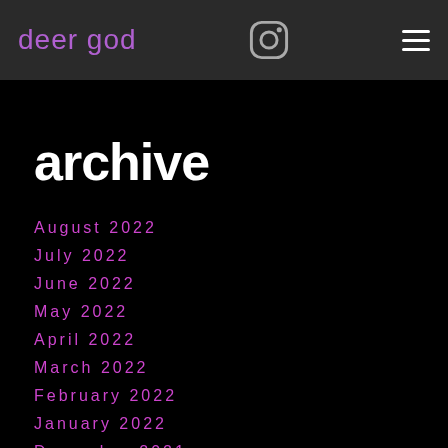deer god
archive
August 2022
July 2022
June 2022
May 2022
April 2022
March 2022
February 2022
January 2022
December 2021
November 2021
October 2021